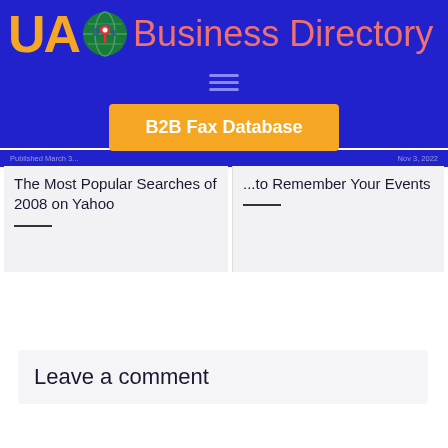UA Business Directory
[Figure (logo): UA Business Directory logo with globe/map pin icon, orange UA text and salmon Business Directory text on blue background]
[Figure (infographic): Hamburger menu icon (three horizontal lines) on blue background]
B2B Fax Database
Published March 3... Nov 3, 2022
The Most Popular Searches of 2008 on Yahoo
...to Remember Your Events
Leave a comment